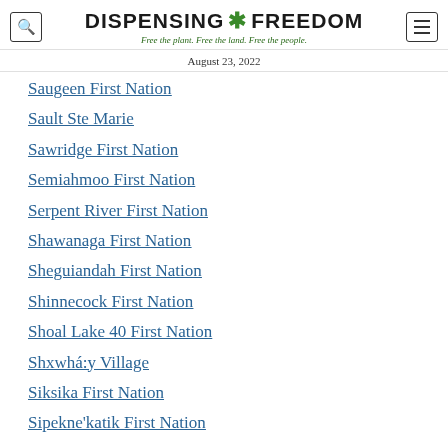DISPENSING ✿ FREEDOM — Free the plant. Free the land. Free the people.
August 23, 2022
Saugeen First Nation
Sault Ste Marie
Sawridge First Nation
Semiahmoo First Nation
Serpent River First Nation
Shawanaga First Nation
Sheguiandah First Nation
Shinnecock First Nation
Shoal Lake 40 First Nation
Shxwhá:y Village
Siksika First Nation
Sipekne'katik First Nation